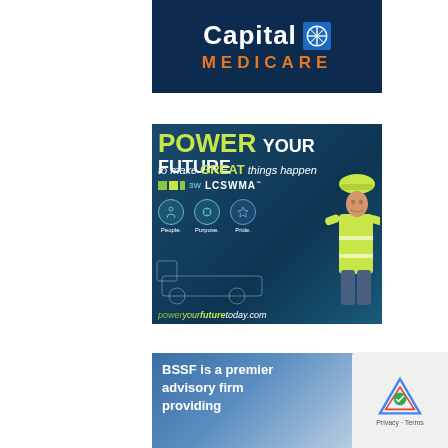[Figure (illustration): Capital BlueCross Medicare advertisement with dark navy background. Shows 'Capital' in large white bold text with BCBS logo, and 'MEDICARE' in orange spaced letters below.]
[Figure (illustration): LCSWMA 'Power Your Future' recruitment advertisement on dark blue background. Features text 'POWER YOUR FUTURE to make GREAT things happen', LCSWMA logo, People/Purpose/Pride icons, worker in yellow safety gear, and URL poweryourfuturetoday.com]
[Figure (illustration): BSSF advisory firm advertisement with blue gradient background. Text reads 'BSSF is a premier advisory firm providing...']